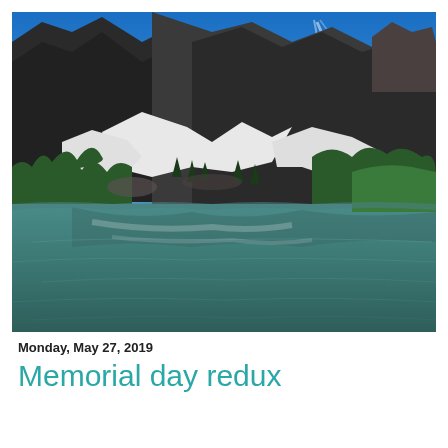[Figure (photo): Outdoor mountain lake scene with snow patches on steep rocky mountain slopes, coniferous trees, and reflective teal-green lake in foreground under a bright blue sky with sun rays]
Monday, May 27, 2019
Memorial day redux